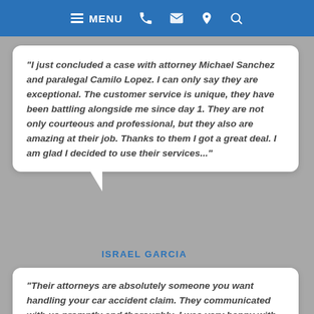MENU [navigation icons: phone, email, location, search]
“I just concluded a case with attorney Michael Sanchez and paralegal Camilo Lopez. I can only say they are exceptional. The customer service is unique, they have been battling alongside me since day 1. They are not only courteous and professional, but they also are amazing at their job. Thanks to them I got a great deal. I am glad I decided to use their services...”
ISRAEL GARCIA
“Their attorneys are absolutely someone you want handling your car accident claim. They communicated with us promptly and thoroughly. I was very happy with our recovery. Already